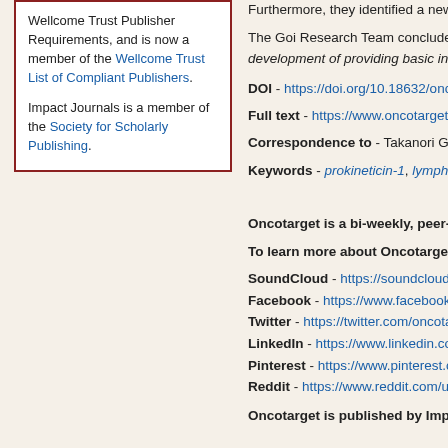Wellcome Trust Publisher Requirements, and is now a member of the Wellcome Trust List of Compliant Publishers.

Impact Journals is a member of the Society for Scholarly Publishing.
Furthermore, they identified a new relationship between lymphatic formation, invasion, and me...
The Goi Research Team concluded in... role of PROK1 in the tumor microenvironment in this study, which leads the development of... providing basic insight for the molecular...
DOI - https://doi.org/10.18632/oncota...
Full text - https://www.oncotarget.com...
Correspondence to - Takanori Goi - t...
Keywords - prokineticin-1, lymphangic...
About
Oncotarget is a bi-weekly, peer-reviewed journal covering research on all aspects of...
To learn more about Oncotarget, please connect with:
SoundCloud - https://soundcloud.com/...
Facebook - https://www.facebook.com/...
Twitter - https://twitter.com/oncotarget...
LinkedIn - https://www.linkedin.com/c...
Pinterest - https://www.pinterest.com/...
Reddit - https://www.reddit.com/user/o...
Oncotarget is published by Impact...